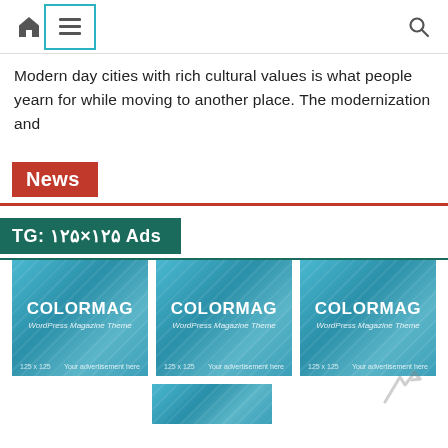Navigation bar with home icon, menu icon, and search icon
Modern day cities with rich cultural values is what people yearn for while moving to another place. The modernization and
News
TG: ۱۲۵×۱۲۵ Ads
[Figure (screenshot): Three COLORMAG WordPress Magazine Theme advertisement boxes, each 125x125, with teal gradient background and diagonal stripe pattern. A fourth partial box is visible at the bottom.]